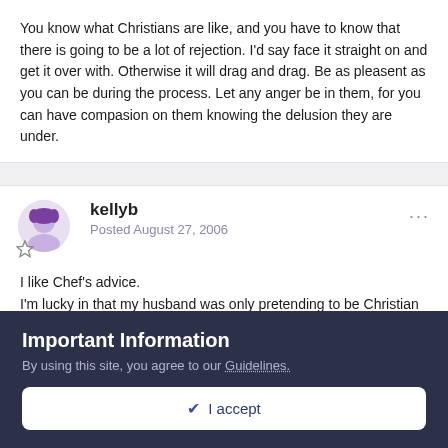You know what Christians are like, and you have to know that there is going to be a lot of rejection. I'd say face it straight on and get it over with. Otherwise it will drag and drag. Be as pleasent as you can be during the process. Let any anger be in them, for you can have compasion on them knowing the delusion they are under.
kellyb
Posted August 27, 2006
I like Chef's advice.
I'm lucky in that my husband was only pretending to be Christian to make me happy.
He said, when I informed him of my deconversion, "Meh...I never
Important Information
By using this site, you agree to our Guidelines.
✔  I accept